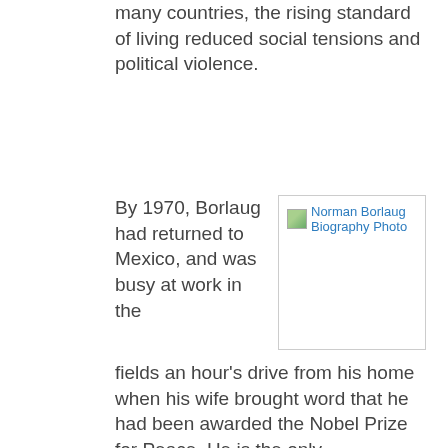many countries, the rising standard of living reduced social tensions and political violence.
By 1970, Borlaug had returned to Mexico, and was busy at work in the fields an hour's drive from his home when his wife brought word that he had been awarded the Nobel Prize for Peace. He is the only agriculturalist ever to have been so honored. A descendant of Norwegian immigrants -- men and women who had come to America to escape a food shortage in their homeland -- Borlaug
[Figure (photo): Norman Borlaug Biography Photo — placeholder image with broken image icon and alt text]